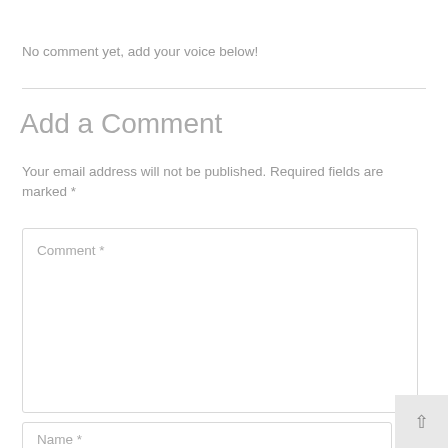No comment yet, add your voice below!
Add a Comment
Your email address will not be published. Required fields are marked *
Comment *
Name *